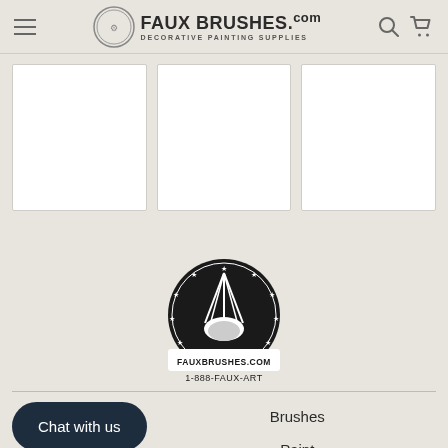FAUX BRUSHES.COM DECORATIVE PAINTING SUPPLIES
[Figure (other): Three white product image placeholder cards in a horizontal grid]
[Figure (logo): FauxBrushes.com circular logo with hand holding brushes and text '1-888-FAUX-ART']
Chat with us
Brushes
Paint